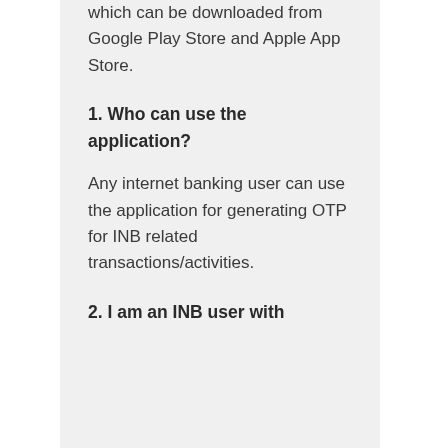which can be downloaded from Google Play Store and Apple App Store.
1. Who can use the application?
Any internet banking user can use the application for generating OTP for INB related transactions/activities.
2. I am an INB user with